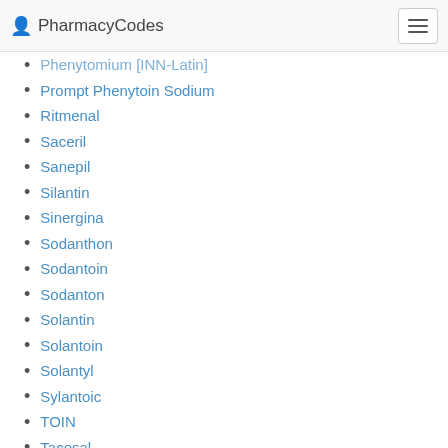PharmacyCodes
Phenytomium [INN-Latin]
Prompt Phenytoin Sodium
Ritmenal
Saceril
Sanepil
Silantin
Sinergina
Sodanthon
Sodantoin
Sodanton
Solantin
Solantoin
Solantyl
Sylantoic
TOIN
Tacosal
Thilophenyl
Toin unicelles
Zentronal
Zentropil